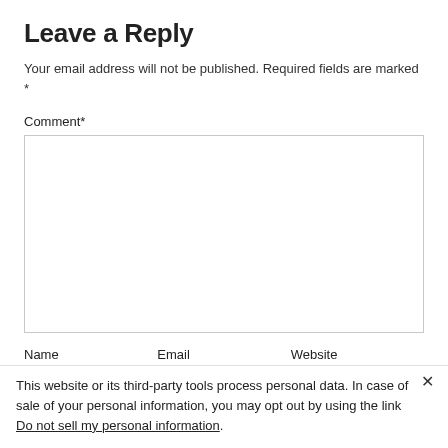Leave a Reply
Your email address will not be published. Required fields are marked *
Comment*
Name	Email	Website
This website or its third-party tools process personal data. In case of sale of your personal information, you may opt out by using the link Do not sell my personal information.